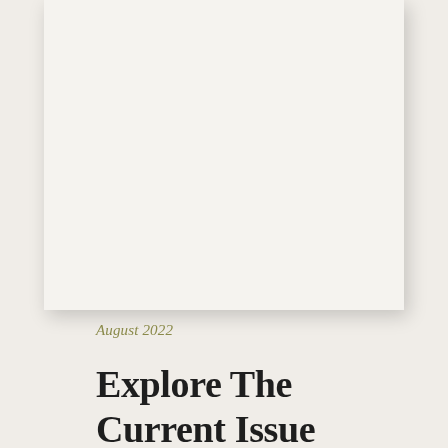[Figure (other): Large blank/white card with shadow, representing a magazine cover image placeholder]
August 2022
Explore The Current Issue